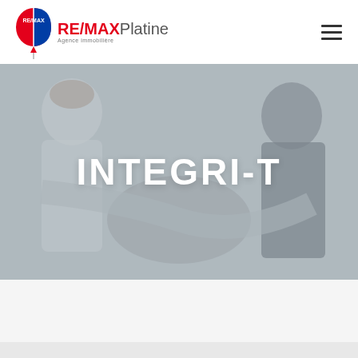[Figure (logo): RE/MAX Platine logo with balloon icon and text 'RE/MAX Platine - Agence immobilière']
[Figure (photo): Background photo of business people shaking hands, greyed/muted overlay, with white bold text 'INTEGRI-T' centered on the image]
INTEGRI-T